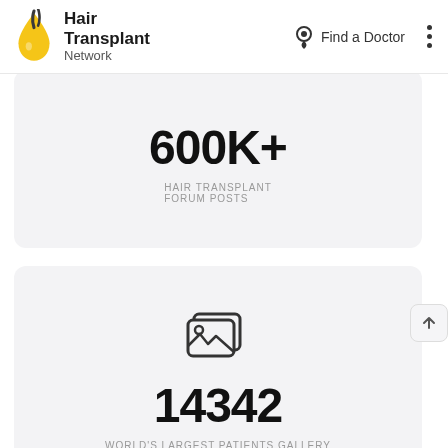Hair Transplant Network — Find a Doctor
600K+ HAIR TRANSPLANT FORUM POSTS
14342 WORLD'S LARGEST PATIENTS GALLERY
[Figure (illustration): Photo/gallery icon (stacked image frames)]
[Figure (illustration): Video play button icon (partially visible at bottom)]